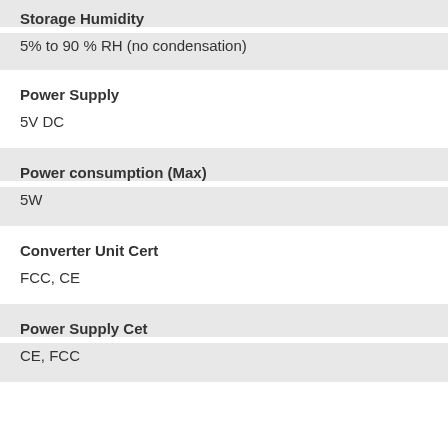Storage Humidity
5% to 90 % RH (no condensation)
Power Supply
5V DC
Power consumption (Max)
5W
Converter Unit Cert
FCC, CE
Power Supply Cet
CE, FCC